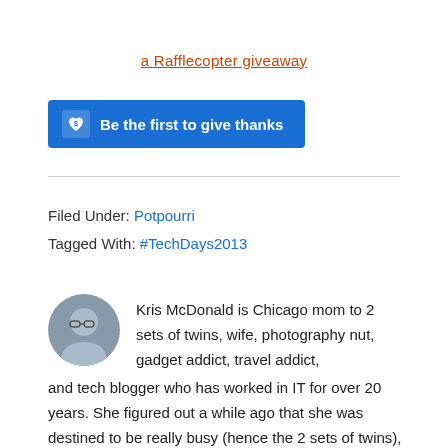a Rafflecopter giveaway
[Figure (other): Blue button with dollar-sign heart icon: Be the first to give thanks]
Filed Under: Potpourri
Tagged With: #TechDays2013
Kris McDonald is Chicago mom to 2 sets of twins, wife, photography nut, gadget addict, travel addict, and tech blogger who has worked in IT for over 20 years. She figured out a while ago that she was destined to be really busy (hence the 2 sets of twins), and she has found peace with that. Read More...